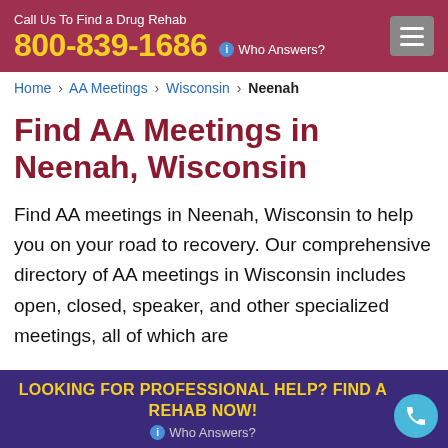Call Us To Find a Drug Rehab 800-839-1686 ⓘ Who Answers?
Home › AA Meetings › Wisconsin › Neenah
Find AA Meetings in Neenah, Wisconsin
Find AA meetings in Neenah, Wisconsin to help you on your road to recovery. Our comprehensive directory of AA meetings in Wisconsin includes open, closed, speaker, and other specialized meetings, all of which are
LOOKING FOR PROFESSIONAL HELP? FIND A REHAB NOW! ⓘ Who Answers?